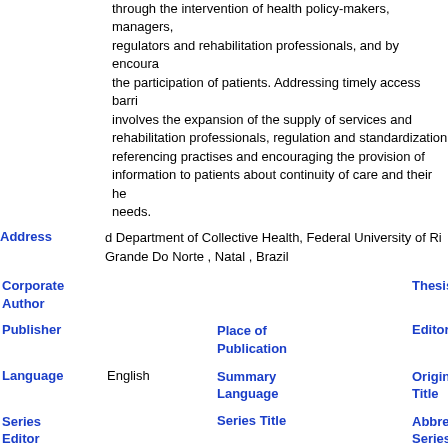through the intervention of health policy-makers, managers, regulators and rehabilitation professionals, and by encouraging the participation of patients. Addressing timely access barriers involves the expansion of the supply of services and rehabilitation professionals, regulation and standardization of referencing practises and encouraging the provision of information to patients about continuity of care and their health needs.
Address: d Department of Collective Health, Federal University of Rio Grande Do Norte , Natal , Brazil
Corporate Author | Thesis | Publisher | Place of Publication | Editor | Language: English | Summary Language | Original Title | Series Editor | Series Title | Abbreviated Series Title | Series Volume | Series Issue | Edition | ISSN: 0963-8288 | ISBN | Medium | Area | Expedition | Conference | Notes: PMID:26987039 | Approved